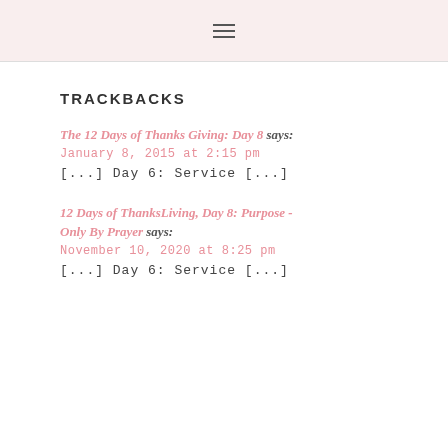☰
TRACKBACKS
The 12 Days of Thanks Giving: Day 8 says:
January 8, 2015 at 2:15 pm
[...] Day 6: Service [...]
12 Days of ThanksLiving, Day 8: Purpose - Only By Prayer says:
November 10, 2020 at 8:25 pm
[...] Day 6: Service [...]